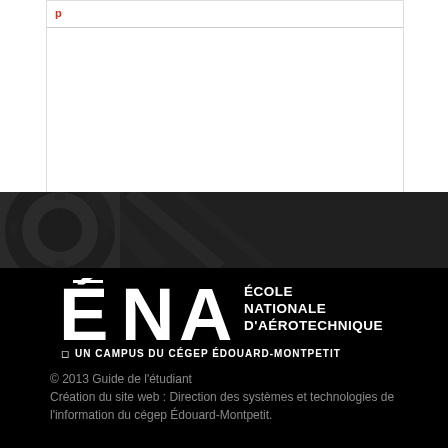[Figure (photo): Dark background with gear/mechanical elements visible, serving as a decorative banner background]
[Figure (logo): ÉNA - École Nationale d'Aérotechnique logo with text 'UN CAMPUS DU CÉGEP ÉDOUARD-MONTPETIT']
© 2013 Guide de l'étudiant
Création du site web : Direction des systèmes et technologies de l'information du cégep Édouard-Montpetit.